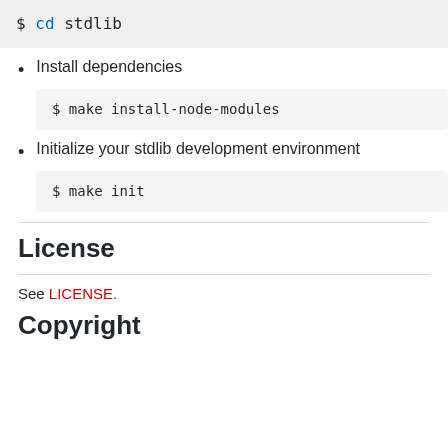$ cd stdlib
Install dependencies
$ make install-node-modules
Initialize your stdlib development environment
$ make init
License
See LICENSE.
Copyright